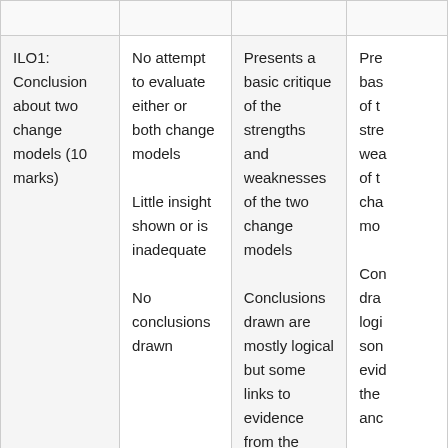|  |  |  |  |
| ILO1: Conclusion about two change models (10 marks) | No attempt to evaluate either or both change models

Little insight shown or is inadequate

No conclusions drawn | Presents a basic critique of the strengths and weaknesses of the two change models

Conclusions drawn are mostly logical but some links to evidence from the analysis and critique are not strong | Pre bas of t stre wea of t cha mo

Con dra logi son evid the anc |